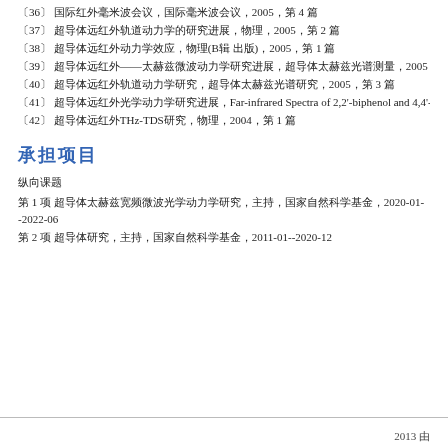〔36〕 国际红外毫米波会议, 国际毫米波会议, 2005, 第 4 篇
〔37〕 超导体远红外轨道动力学的研究进展, 物理, 2005, 第 2 篇
〔38〕 超导体远红外动力学效应, 物理(B辑 出版), 2005, 第 1 篇
〔39〕 超导体远红外——太赫兹微波动力学研究进展, 超导体太赫兹光谱测量, 2005, 第 1 篇
〔40〕 超导体远红外轨道动力学研究, 超导体太赫兹光谱研究, 2005, 第 3 篇
〔41〕 超导体远红外光学动力学研究进展, Far-infrared Spectra of 2,2'-biphenol and 4,4'-biphenol Mea
〔42〕 超导体远红外THz-TDS研究, 物理, 2004, 第 1 篇
承担项目
纵向课题
第 1 项 超导体太赫兹宽频微波光学动力学研究, 主持, 国家自然科学基金, 2020-01--2022-06
第 2 项 超导体研究, 主持, 国家自然科学基金, 2011-01--2020-12
2013 由